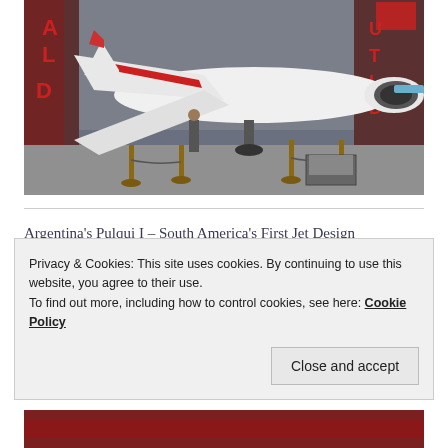[Figure (photo): A white and red jet aircraft on display inside a museum hangar with grey/brown decor, stanchions with ropes, and a display stand nearby.]
Argentina's Pulqui I – South America's First Jet Design
[Figure (photo): Partial view of a second aircraft photo, partially obscured by cookie banner.]
Privacy & Cookies: This site uses cookies. By continuing to use this website, you agree to their use.
To find out more, including how to control cookies, see here: Cookie Policy
[Figure (photo): Bottom strip of a red aircraft image, partially visible at bottom of page.]